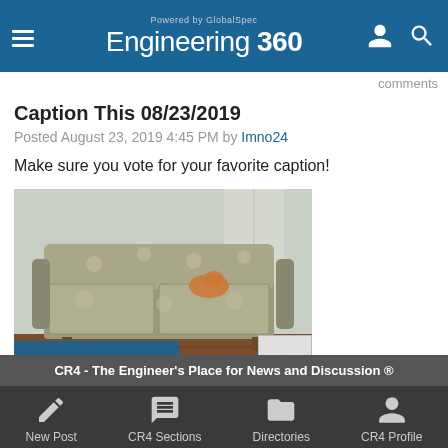Powered by GlobalSpec Engineering 360
Comments
Subscribe  Rate this  Comments: Nested
Caption This 08/23/2019
Posted August 23, 2019 4:45 PM by Imno24
Make sure you vote for your favorite caption!
[Figure (photo): An old floral-patterned sofa/couch in a room with hardwood floors, with a blue redaction bar over part of the image]
CR4 - The Engineer's Place for News and Discussion ®
New Post  CR4 Sections  Directories  CR4 Profile